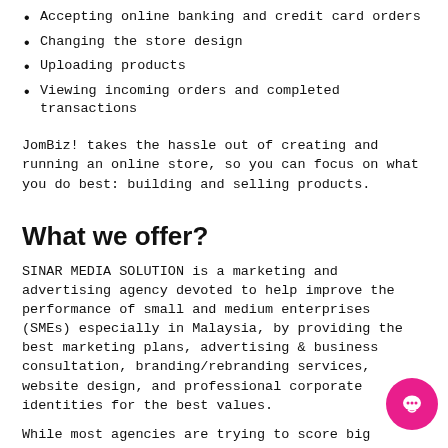Accepting online banking and credit card orders
Changing the store design
Uploading products
Viewing incoming orders and completed transactions
JomBiz! takes the hassle out of creating and running an online store, so you can focus on what you do best: building and selling products.
What we offer?
SINAR MEDIA SOLUTION is a marketing and advertising agency devoted to help improve the performance of small and medium enterprises (SMEs) especially in Malaysia, by providing the best marketing plans, advertising & business consultation, branding/rebranding services, website design, and professional corporate identities for the best values.
While most agencies are trying to score big accounts with multi-national companies with millions of yearly revenue, we at Sinar Media Solution (SMS) are working hard to deliver our visions and exceptional services to those who really need it. Marketing won't be a big problem if your company is already well known, but it will be hard for small companies and start-ups, and that is what SINAR MEDIA SOLUTION...